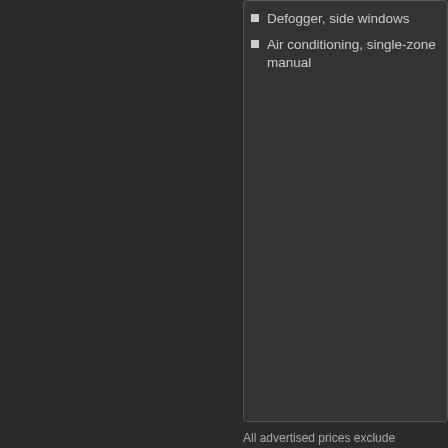Defogger, side windows
Air conditioning, single-zone manual
All advertised prices exclude government testing charge. The price for listed vehicle Taxes, Dealer Prep, Smog Fees, Credit